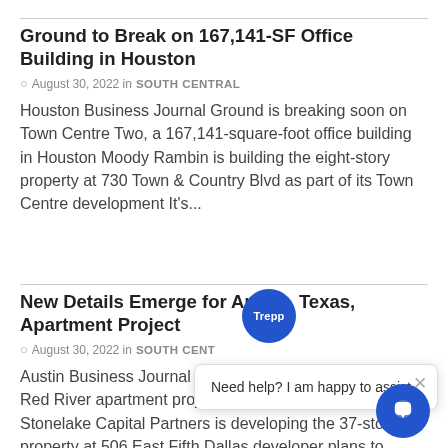Ground to Break on 167,141-SF Office Building in Houston
August 30, 2022 in SOUTH CENTRAL
Houston Business Journal Ground is breaking soon on Town Centre Two, a 167,141-square-foot office building in Houston Moody Rambin is building the eight-story property at 730 Town & Country Blvd as part of its Town Centre development It's...
New Details Emerge for Austin, Texas, Apartment Project
August 30, 2022 in SOUTH CENTRAL
Austin Business Journal Details revealed for the 5th + Red River apartment project in downtown Austin, Texas Stonelake Capital Partners is developing the 37-story property at 506 East Fifth Dallas developer plans to redevelop...